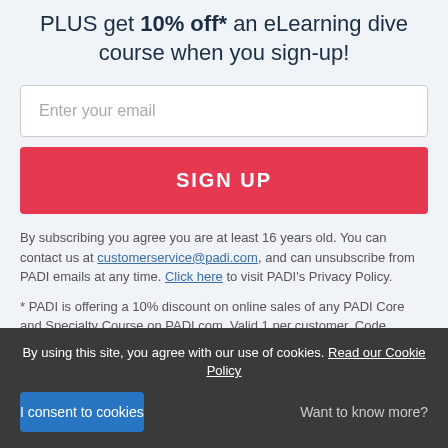PLUS get 10% off* an eLearning dive course when you sign-up!
Enter your email
SIGN UP
By subscribing you agree you are at least 16 years old. You can contact us at customerservice@padi.com, and can unsubscribe from PADI emails at any time. Click here to visit PADI's Privacy Policy.
* PADI is offering a 10% discount on online sales of any PADI Core and Specialty Course on PADI.com. Valid 1 per customer. Code expires 30 days from email sign-up
By using this site, you agree with our use of cookies. Read our Cookie Policy
I consent to cookies
Want to know more?